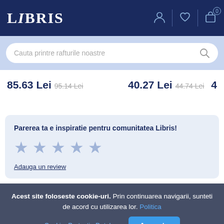LIBRIS
Cauta printre rafturile noastre
85.63 Lei 95.14 Lei   40.27 Lei 44.74 Lei   4
Parerea ta e inspiratie pentru comunitatea Libris!
Adauga un review
Acest site foloseste cookie-uri. Prin continuarea navigarii, sunteti de acord cu utilizarea lor. Politica Cookie. Protectia Datelor... Accepta
Noi suntem despre carti,